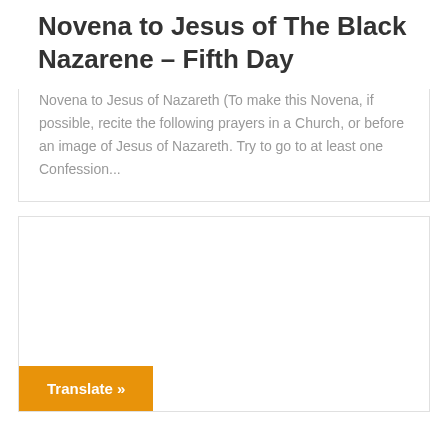Novena to Jesus of The Black Nazarene – Fifth Day
Novena to Jesus of Nazareth (To make this Novena, if possible, recite the following prayers in a Church, or before an image of Jesus of Nazareth. Try to go to at least one Confession...
[Figure (other): A card with a translate button at the bottom left reading 'Translate »' in white text on an orange background]